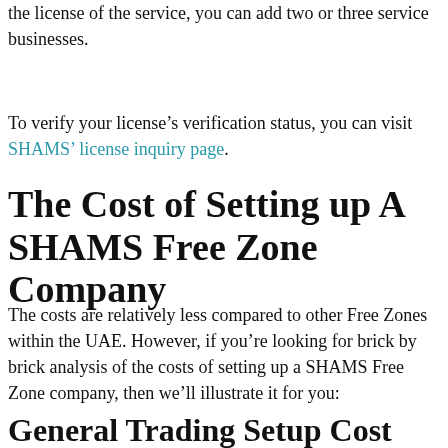the license of the service, you can add two or three service businesses.
To verify your license's verification status, you can visit SHAMS' license inquiry page.
The Cost of Setting up A SHAMS Free Zone Company
The costs are relatively less compared to other Free Zones within the UAE. However, if you're looking for brick by brick analysis of the costs of setting up a SHAMS Free Zone company, then we'll illustrate it for you:
General Trading Setup Cost